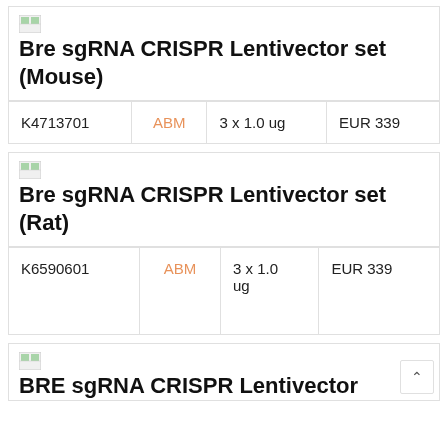Bre sgRNA CRISPR Lentivector set (Mouse)
| Catalog# | Supplier | Quantity | Price |
| --- | --- | --- | --- |
| K4713701 | ABM | 3 x 1.0 ug | EUR 339 |
Bre sgRNA CRISPR Lentivector set (Rat)
| Catalog# | Supplier | Quantity | Price |
| --- | --- | --- | --- |
| K6590601 | ABM | 3 x 1.0 ug | EUR 339 |
BRE sgRNA CRISPR Lentivector